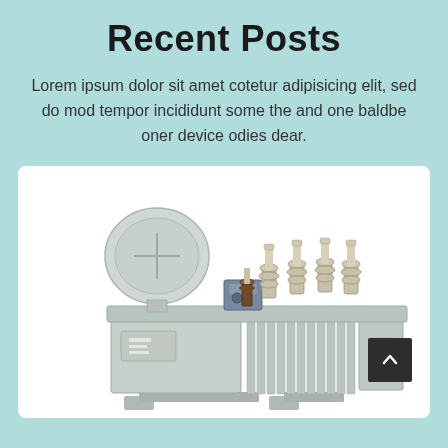Recent Posts
Lorem ipsum dolor sit amet cotetur adipisicing elit, sed do mod tempor incididunt some the and one baldbe oner device odies dear.
[Figure (photo): Photograph of a large industrial oil-filled electrical power transformer (grey/light green color) with bushing insulators on top, conservator tank on the left, cooling fins on the body, and mounting base. White background.]